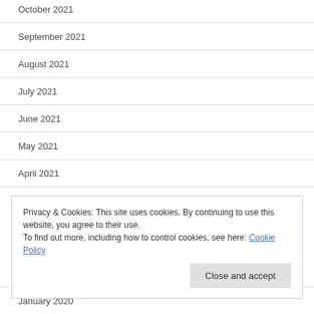October 2021
September 2021
August 2021
July 2021
June 2021
May 2021
April 2021
September 2020
Privacy & Cookies: This site uses cookies. By continuing to use this website, you agree to their use. To find out more, including how to control cookies, see here: Cookie Policy
January 2020